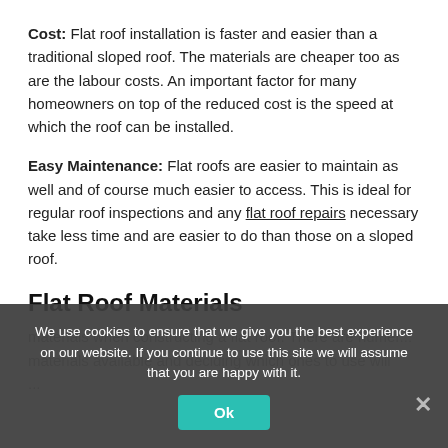Cost: Flat roof installation is faster and easier than a traditional sloped roof. The materials are cheaper too as are the labour costs. An important factor for many homeowners on top of the reduced cost is the speed at which the roof can be installed.
Easy Maintenance: Flat roofs are easier to maintain as well and of course much easier to access. This is ideal for regular roof inspections and any flat roof repairs necessary take less time and are easier to do than those on a sloped roof.
Flat Roof Materials
materials when constructing a flat roof. There are numer... materials available and deciding which ones to use will...
We use cookies to ensure that we give you the best experience on our website. If you continue to use this site we will assume that you are happy with it.